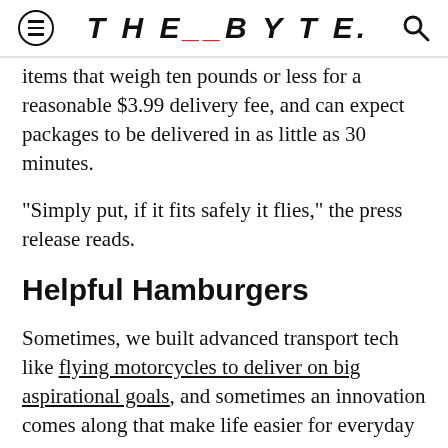THE_BYTE.
items that weigh ten pounds or less for a reasonable $3.99 delivery fee, and can expect packages to be delivered in as little as 30 minutes.
"Simply put, if it fits safely it flies," the press release reads.
Helpful Hamburgers
Sometimes, we built advanced transport tech like flying motorcycles to deliver on big aspirational goals, and sometimes an innovation comes along that make life easier for everyday